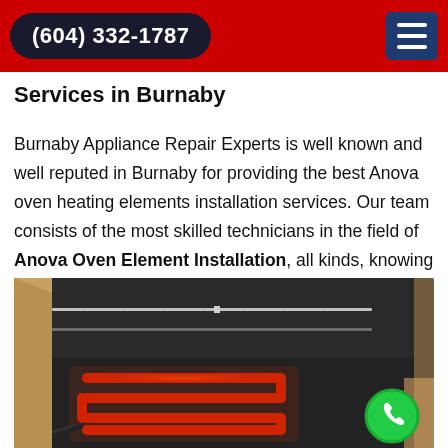(604) 332-1787
Services in Burnaby
Burnaby Appliance Repair Experts is well known and well reputed in Burnaby for providing the best Anova oven heating elements installation services. Our team consists of the most skilled technicians in the field of Anova Oven Element Installation, all kinds, knowing everything that is required to get the job done.
[Figure (photo): Interior view of an oven showing a glowing red heating element coiled in a serpentine pattern on the oven floor, with metal racks visible above.]